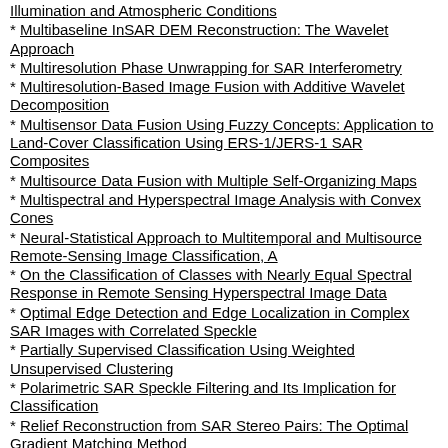Illumination and Atmospheric Conditions
Multibaseline InSAR DEM Reconstruction: The Wavelet Approach
Multiresolution Phase Unwrapping for SAR Interferometry
Multiresolution-Based Image Fusion with Additive Wavelet Decomposition
Multisensor Data Fusion Using Fuzzy Concepts: Application to Land-Cover Classification Using ERS-1/JERS-1 SAR Composites
Multisource Data Fusion with Multiple Self-Organizing Maps
Multispectral and Hyperspectral Image Analysis with Convex Cones
Neural-Statistical Approach to Multitemporal and Multisource Remote-Sensing Image Classification, A
On the Classification of Classes with Nearly Equal Spectral Response in Remote Sensing Hyperspectral Image Data
Optimal Edge Detection and Edge Localization in Complex SAR Images with Correlated Speckle
Partially Supervised Classification Using Weighted Unsupervised Clustering
Polarimetric SAR Speckle Filtering and Its Implication for Classification
Relief Reconstruction from SAR Stereo Pairs: The Optimal Gradient Matching Method